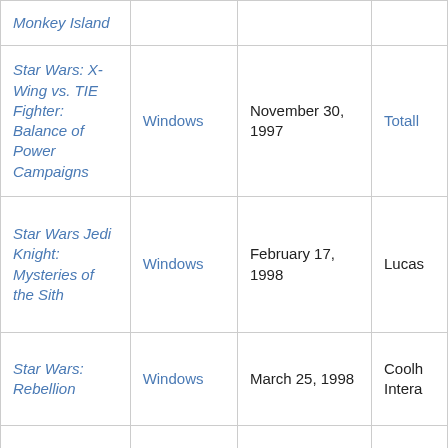| Title | Platform | Release Date | Publisher |
| --- | --- | --- | --- |
| Monkey Island |  |  |  |
| Star Wars: X-Wing vs. TIE Fighter: Balance of Power Campaigns | Windows | November 30, 1997 | Totally |
| Star Wars Jedi Knight: Mysteries of the Sith | Windows | February 17, 1998 | Lucas |
| Star Wars: Rebellion | Windows | March 25, 1998 | Coolh Intera |
| Star Wars: Behind the Magic | Windows | September 1998 | Lucas |